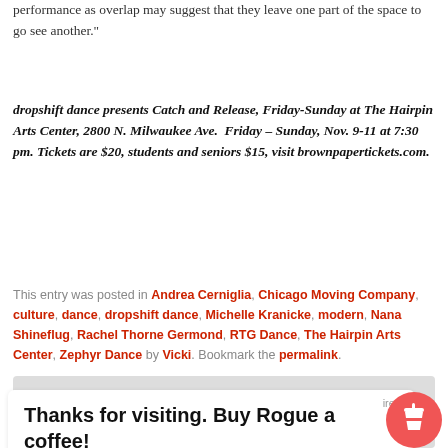performance as overlap may suggest that they leave one part of the space to go see another."
dropshift dance presents Catch and Release, Friday-Sunday at The Hairpin Arts Center, 2800 N. Milwaukee Ave.  Friday – Sunday, Nov. 9-11 at 7:30 pm. Tickets are $20, students and seniors $15, visit brownpapertickets.com.
This entry was posted in Andrea Cerniglia, Chicago Moving Company, culture, dance, dropshift dance, Michelle Kranicke, modern, Nana Shineflug, Rachel Thorne Germond, RTG Dance, The Hairpin Arts Center, Zephyr Dance by Vicki. Bookmark the permalink.
Thanks for visiting. Buy Rogue a coffee!